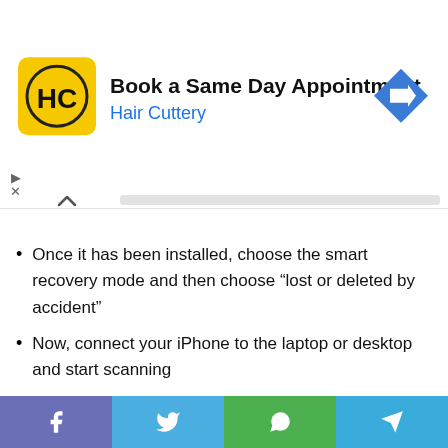[Figure (other): Hair Cuttery advertisement banner: 'Book a Same Day Appointment' with Hair Cuttery logo and navigation arrow icon]
Once it has been installed, choose the smart recovery mode and then choose “lost or deleted by accident”
Now, connect your iPhone to the laptop or desktop and start scanning
After scanning, the deleted messages and images will show up and you can even recover them back in your WhatsApp
Recovering Deleted Messages From WhatsApp Using iTunes Backup
[Figure (other): Social share bar with Facebook, Twitter, WhatsApp, and Telegram buttons]